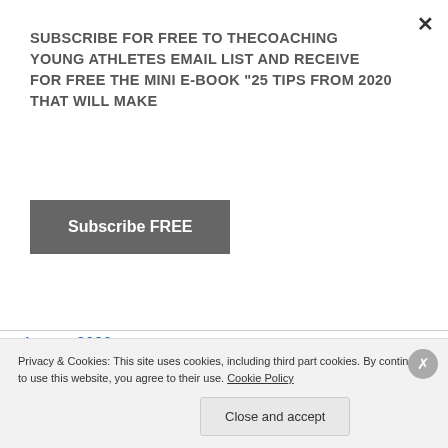SUBSCRIBE FOR FREE TO THECOACHING YOUNG ATHLETES EMAIL LIST AND RECEIVE FOR FREE THE MINI E-BOOK "25 TIPS FROM 2020 THAT WILL MAKE
×
Subscribe FREE
August 2020
July 2020
June 2020
May 2020
April 2020
March 2020
February 2020
January 2020
Privacy & Cookies: This site uses cookies, including third part cookies. By continuing to use this website, you agree to their use. Cookie Policy
Close and accept